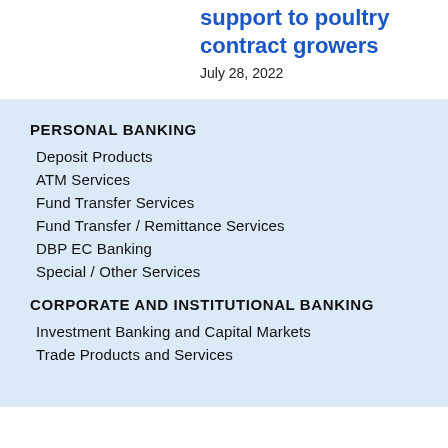support to poultry contract growers
July 28, 2022
PERSONAL BANKING
Deposit Products
ATM Services
Fund Transfer Services
Fund Transfer / Remittance Services
DBP EC Banking
Special / Other Services
CORPORATE AND INSTITUTIONAL BANKING
Investment Banking and Capital Markets
Trade Products and Services